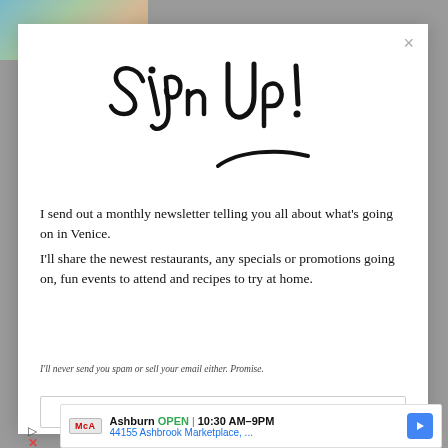[Figure (screenshot): Website popup modal with handwritten-style 'Sign Up!' heading and newsletter description text]
Sign Up!
I send out a monthly newsletter telling you all about what's going on in Venice.
I'll share the newest restaurants, any specials or promotions going on, fun events to attend and recipes to try at home.
I'll never send you spam or sell your email either. Promise.
[Figure (screenshot): Advertisement: Ashburn OPEN 10:30AM-9PM, 44155 Ashbrook Marketplace, ... with McA logo and navigation arrow icon]